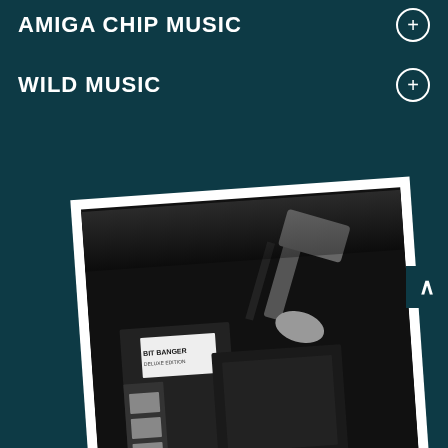AMIGA CHIP MUSIC
WILD MUSIC
[Figure (photo): Black and white photograph in a white polaroid-style frame showing a person holding a rubber mallet raised above what appears to be an electronic device or game cartridge in a box, with product packaging visible in the background including text that appears to read 'BIT BANGER']